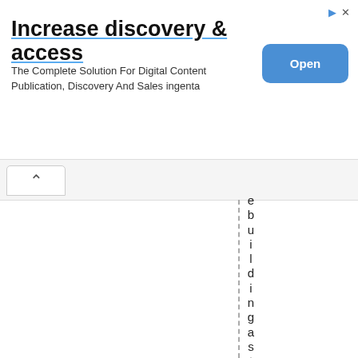[Figure (screenshot): Advertisement banner for Ingenta: 'Increase discovery & access - The Complete Solution For Digital Content Publication, Discovery And Sales ingenta' with an 'Open' button]
ebuildingas the FBI. They go